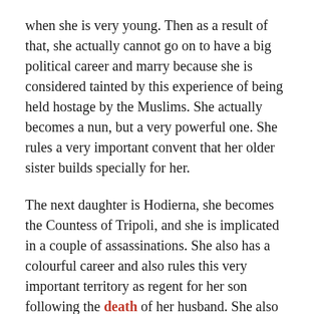when she is very young. Then as a result of that, she actually cannot go on to have a big political career and marry because she is considered tainted by this experience of being held hostage by the Muslims. She actually becomes a nun, but a very powerful one. She rules a very important convent that her older sister builds specially for her.
The next daughter is Hodierna, she becomes the Countess of Tripoli, and she is implicated in a couple of assassinations. She also has a colourful career and also rules this very important territory as regent for her son following the death of her husband. She also has quite a lot of power in her lifetime.